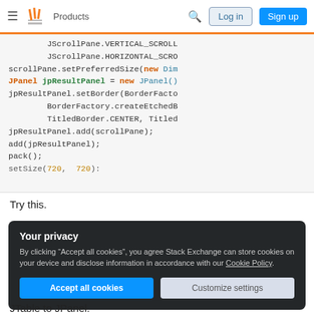≡ [Stack Overflow logo] Products [search] Log in Sign up
[Figure (screenshot): Code snippet showing Java JScrollPane and JPanel setup with syntax highlighting]
Try this.
Your privacy
By clicking "Accept all cookies", you agree Stack Exchange can store cookies on your device and disclose information in accordance with our Cookie Policy.
[Accept all cookies] [Customize settings]
JTable to JPanel.